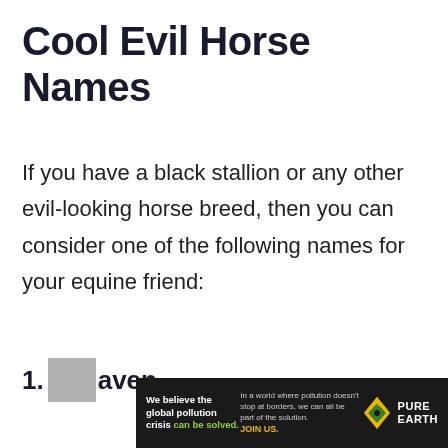Cool Evil Horse Names
If you have a black stallion or any other evil-looking horse breed, then you can consider one of the following names for your equine friend:
1. Raven
[Figure (other): Advertisement banner for Pure Earth: 'We believe the global pollution crisis can be solved.' with Pure Earth logo.]